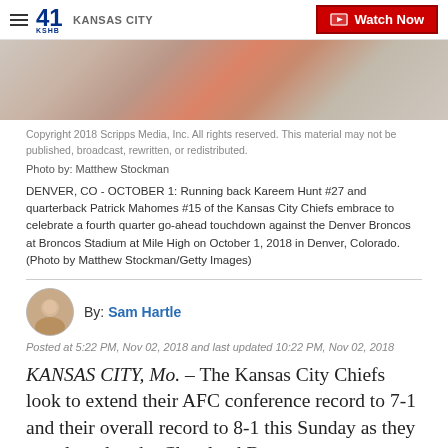41 KSHB KANSAS CITY | Watch Now
[Figure (photo): Partial photo of Kansas City Chiefs players, blurred/cropped at top of page]
Copyright 2018 Scripps Media, Inc. All rights reserved. This material may not be published, broadcast, rewritten, or redistributed.
Photo by: Matthew Stockman
DENVER, CO - OCTOBER 1: Running back Kareem Hunt #27 and quarterback Patrick Mahomes #15 of the Kansas City Chiefs embrace to celebrate a fourth quarter go-ahead touchdown against the Denver Broncos at Broncos Stadium at Mile High on October 1, 2018 in Denver, Colorado. (Photo by Matthew Stockman/Getty Images)
By: Sam Hartle
Posted at 5:22 PM, Nov 02, 2018 and last updated 10:22 PM, Nov 02, 2018
KANSAS CITY, Mo. – The Kansas City Chiefs look to extend their AFC conference record to 7-1 and their overall record to 8-1 this Sunday as they travel to play the Cleveland Browns.